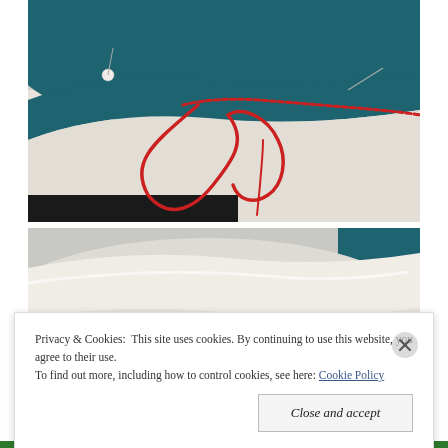[Figure (photo): Close-up photo of fabric sewing: teal/dark blue felt pinned with pearl-head pins onto white fabric, with red yarn/thread forming loops and chain stitch along the seam edge.]
[Figure (photo): Close-up photo of white and teal fabric pieces, showing folded/layered fabric edges, partially obscured by cookie consent banner.]
Privacy & Cookies:  This site uses cookies. By continuing to use this website, you agree to their use.
To find out more, including how to control cookies, see here: Cookie Policy
Close and accept